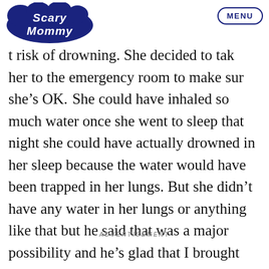[Figure (logo): Scary Mommy logo — stylized cloud bubble text in dark navy blue]
MENU
t risk of drowning. She decided to take her to the emergency room to make sure she's OK. "She could have inhaled so much water once she went to sleep that night she could have actually drowned in her sleep because the water would have been trapped in her lungs. But she didn't have any water in her lungs or anything like that but he said that was a major possibility and he's glad that I brought her in."
ADVERTISEMENT